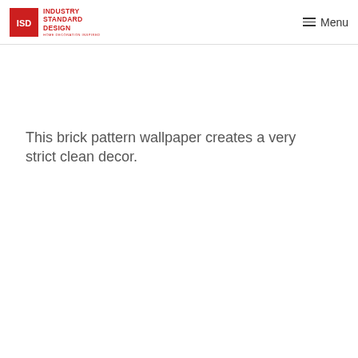Industry Standard Design | Menu
This brick pattern wallpaper creates a very strict clean decor.